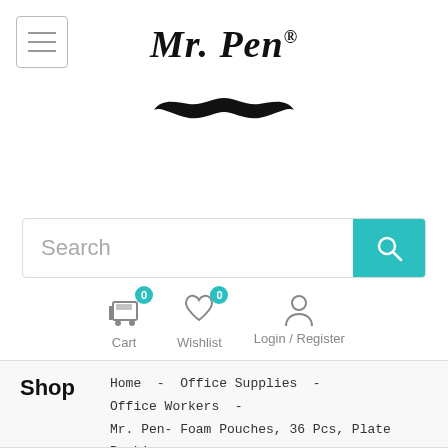[Figure (logo): Mr. Pen logo with mustache, hamburger menu button in top left]
Search
[Figure (infographic): Cart (0), Wishlist (0), Login / Register navigation icons]
Shop  Home - Office Supplies - Office Workers - Mr. Pen- Foam Pouches, 36 Pcs, Plate Packing Sleeves, Foam Packing Pouches, Foam Pouches For Packing Dishes